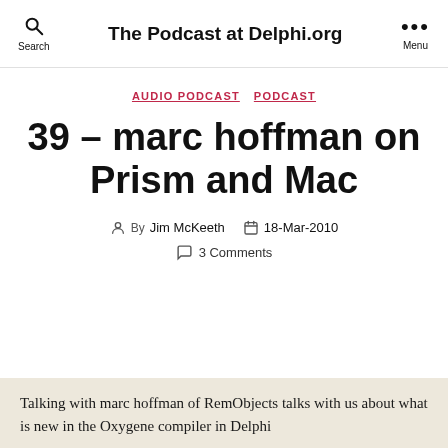The Podcast at Delphi.org
AUDIO PODCAST   PODCAST
39 – marc hoffman on Prism and Mac
By Jim McKeeth   18-Mar-2010   3 Comments
Talking with marc hoffman of RemObjects talks with us about what is new in the Oxygene compiler in Delphi